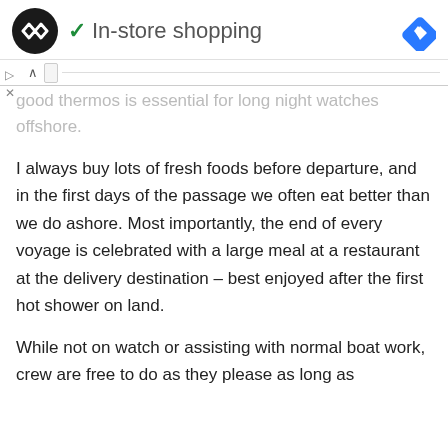[Figure (logo): Black circular logo with double arrow/infinity symbol, followed by green checkmark and 'In-store shopping' text, and a blue diamond navigation arrow on the right]
good thermos is essential for long night watches offshore.
I always buy lots of fresh foods before departure, and in the first days of the passage we often eat better than we do ashore. Most importantly, the end of every voyage is celebrated with a large meal at a restaurant at the delivery destination – best enjoyed after the first hot shower on land.
While not on watch or assisting with normal boat work, crew are free to do as they please as long as